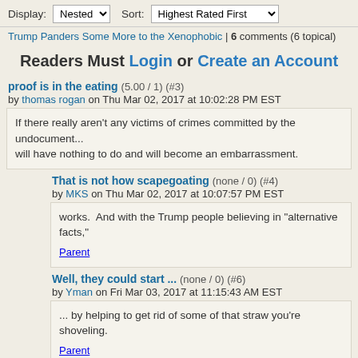Display: Nested | Sort: Highest Rated First
Trump Panders Some More to the Xenophobic | 6 comments (6 topical)
Readers Must Login or Create an Account
proof is in the eating (5.00 / 1) (#3)
by thomas rogan on Thu Mar 02, 2017 at 10:02:28 PM EST
If there really aren't any victims of crimes committed by the undocument... will have nothing to do and will become an embarrassment.
That is not how scapegoating (none / 0) (#4)
by MKS on Thu Mar 02, 2017 at 10:07:57 PM EST
works.  And with the Trump people believing in "alternative facts,"
Parent
Well, they could start ... (none / 0) (#6)
by Yman on Fri Mar 03, 2017 at 11:15:43 AM EST
... by helping to get rid of some of that straw you're shoveling.
Parent